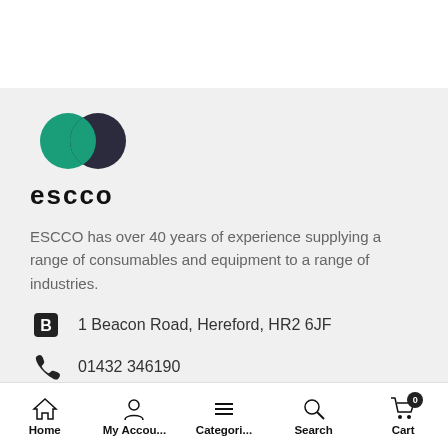[Figure (logo): ESCCO company logo with two overlapping circles (teal and dark blue/black) above the text 'escco' in bold lowercase]
ESCCO has over 40 years of experience supplying a range of consumables and equipment to a range of industries.
1 Beacon Road, Hereford, HR2 6JF
01432 346190
Home   My Accou...   Categori...   Search   Cart